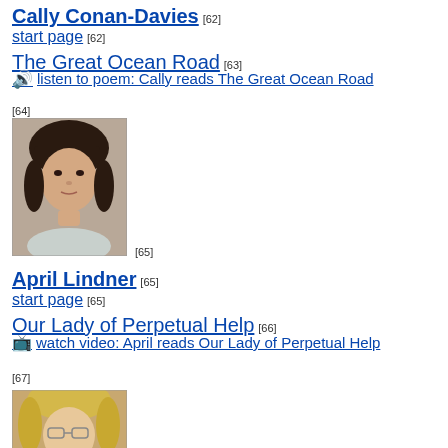Cally Conan-Davies [62]
start page [62]
The Great Ocean Road [63]
listen to poem: Cally reads The Great Ocean Road
[64]
[Figure (photo): Portrait photo of Cally Conan-Davies, a woman with dark hair and bangs, wearing a light-colored top, with footnote [65]]
April Lindner [65]
start page [65]
Our Lady of Perpetual Help [66]
watch video: April reads Our Lady of Perpetual Help
[67]
[Figure (photo): Portrait photo of April Lindner, a woman with blonde hair and glasses, partially visible at bottom of page]